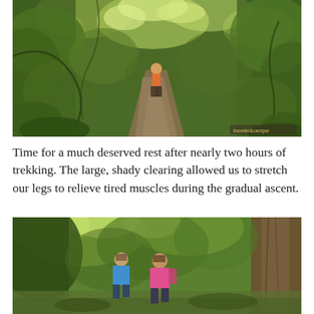[Figure (photo): A jungle trail with dense green tropical forest on both sides. A hiker with an orange backpack walks along the narrow dirt path. Lush vegetation including large leaves and trees fills the frame. Dappled sunlight filters through the canopy.]
Time for a much deserved rest after nearly two hours of trekking. The large, shady clearing allowed us to stretch our legs to relieve tired muscles during the gradual ascent.
[Figure (photo): Two hikers standing in a shady forest clearing. One wears a blue shirt and cap, the other wears a pink shirt and cap with a backpack. Large trees with bright sunlight filtering through the canopy surround them.]